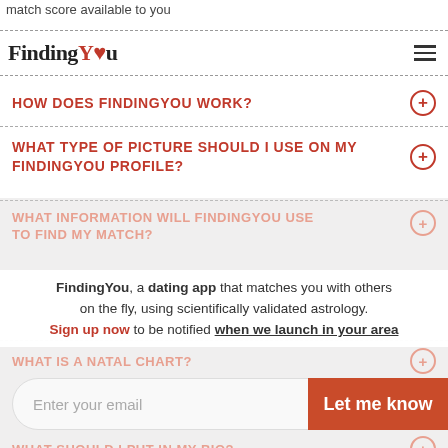match score available to you
FindingYou (logo with navigation)
HOW DOES FINDINGYOU WORK?
WHAT TYPE OF PICTURE SHOULD I USE ON MY FINDINGYOU PROFILE?
WHAT INFORMATION WILL FINDINGYOU USE TO FIND MY MATCH?
FindingYou, a dating app that matches you with others on the fly, using scientifically validated astrology. Sign up now to be notified when we launch in your area
WHAT IS A NATAL CHART?
WHAT SHOULD I PUT IN MY BIO?